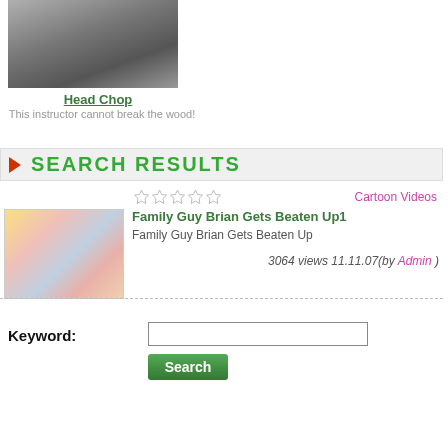[Figure (photo): Thumbnail photo of a person's neck/head profile from a martial arts video]
Head Chop
This instructor cannot break the wood!
SEARCH RESULTS
Cartoon Videos
[Figure (screenshot): Thumbnail screenshot of Family Guy cartoon showing a bathroom scene]
Family Guy Brian Gets Beaten Up1
Family Guy Brian Gets Beaten Up
3064 views 11.11.07(by Admin )
Keyword: